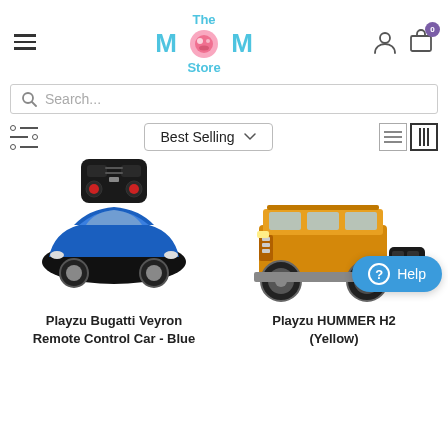[Figure (logo): The MOM Store logo with teal/cyan text and pink circular icon in the O]
Search...
Best Selling
[Figure (photo): Playzu Bugatti Veyron Remote Control Car - Blue, shown with black RC controller above car]
[Figure (photo): Playzu HUMMER H2 Yellow remote control car shown with black RC controller]
Playzu Bugatti Veyron Remote Control Car - Blue
Playzu HUMMER H2 (Yellow)